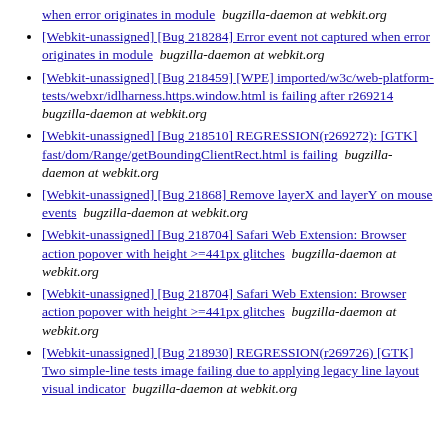when error originates in module  bugzilla-daemon at webkit.org
[Webkit-unassigned] [Bug 218284] Error event not captured when error originates in module  bugzilla-daemon at webkit.org
[Webkit-unassigned] [Bug 218459] [WPE] imported/w3c/web-platform-tests/webxr/idlharness.https.window.html is failing after r269214  bugzilla-daemon at webkit.org
[Webkit-unassigned] [Bug 218510] REGRESSION(r269272): [GTK] fast/dom/Range/getBoundingClientRect.html is failing  bugzilla-daemon at webkit.org
[Webkit-unassigned] [Bug 21868] Remove layerX and layerY on mouse events  bugzilla-daemon at webkit.org
[Webkit-unassigned] [Bug 218704] Safari Web Extension: Browser action popover with height >=441px glitches  bugzilla-daemon at webkit.org
[Webkit-unassigned] [Bug 218704] Safari Web Extension: Browser action popover with height >=441px glitches  bugzilla-daemon at webkit.org
[Webkit-unassigned] [Bug 218930] REGRESSION(r269726) [GTK] Two simple-line tests image failing due to applying legacy line layout visual indicator  bugzilla-daemon at webkit.org